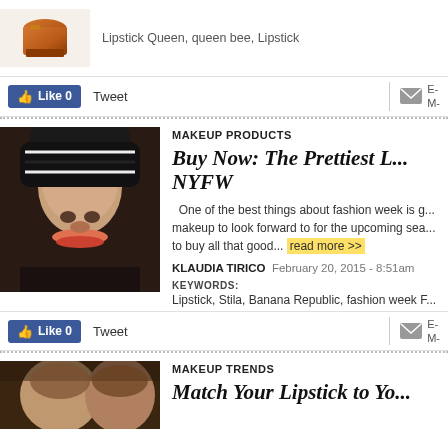[Figure (photo): Lipstick product image, orange/brown lipstick bullet]
Lipstick Queen, queen bee, Lipstick
Like 0   Tweet   E- M-
[Figure (photo): Woman with dark hair wearing a black and white striped knit hat, wearing red lipstick, fashion editorial photo]
MAKEUP PRODUCTS
Buy Now: The Prettiest L... NYFW
One of the best things about fashion week is g... makeup to look forward to for the upcoming sea... to buy all that good... read more >>
KLAUDIA TIRICO   February 20, 2015 - 8:51am
KEYWORDS:
Lipstick, Stila, Banana Republic, fashion week F...
Like 0   Tweet   E- M-
[Figure (photo): Woman with brown hair, partial face visible, beauty/fashion editorial]
MAKEUP TRENDS
Match Your Lipstick to Yo...